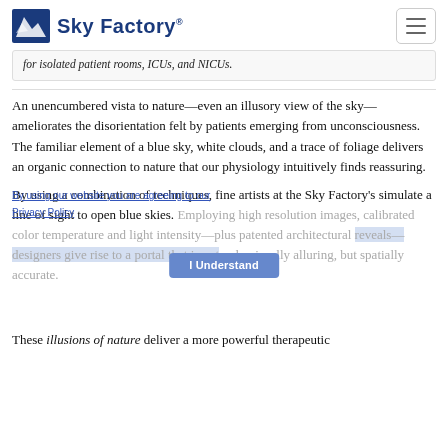Sky Factory
for isolated patient rooms, ICUs, and NICUs.
An unencumbered vista to nature—even an illusory view of the sky—ameliorates the disorientation felt by patients emerging from unconsciousness. The familiar element of a blue sky, white clouds, and a trace of foliage delivers an organic connection to nature that our physiology intuitively finds reassuring.
By using a combination of techniques, fine artists at the Sky Factory's simulate a line of sight to open blue skies. Employing high resolution images, calibrated color temperature and light intensity—plus patented architectural reveals—designers give rise to a portal that is not only visually alluring, but spatially accurate.
These illusions of nature deliver a more powerful therapeutic